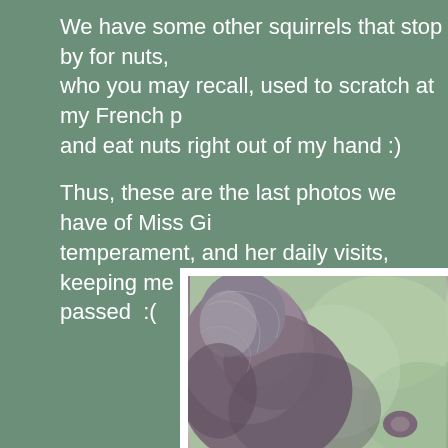We have some other squirrels that stop by for nuts, who you may recall, used to scratch at my French p and eat nuts right out of my hand :)
Thus, these are the last photos we have of Miss Gi temperament, and her daily visits, keeping me com passed  :(
[Figure (photo): Close-up photograph of a squirrel, showing its fur and ear, with a blurred green background.]